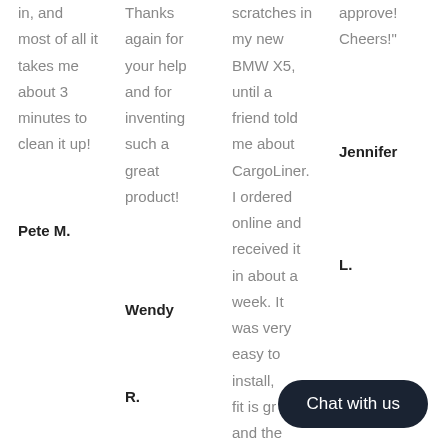in, and most of all it takes me about 3 minutes to clean it up!
Pete M.
Thanks again for your help and for inventing such a great product!
Wendy R.
scratches in my new BMW X5, until a friend told me about CargoLiner. I ordered online and received it in about a week. It was very easy to install, fit is gr and the
approve! Cheers!"
Jennifer L.